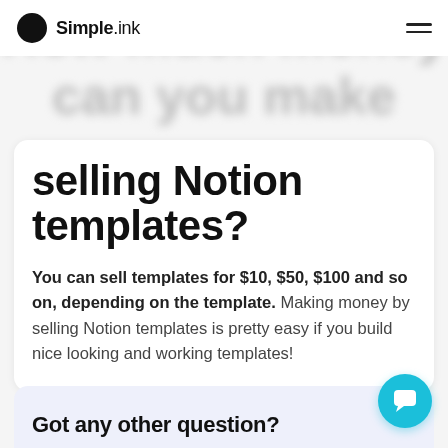Simple.ink
selling Notion templates?
You can sell templates for $10, $50, $100 and so on, depending on the template. Making money by selling Notion templates is pretty easy if you build nice looking and working templates!
Got any other question?